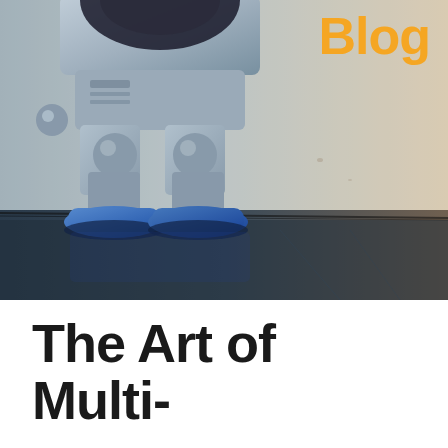[Figure (photo): A metallic retro-style toy robot with blue feet standing on a reflective dark floor, photographed from a low angle showing its legs and lower torso. The background is a warm beige/cream textured wall. The image has a sepia-toned desaturated quality on the right side.]
Blog
The Art of Multi-